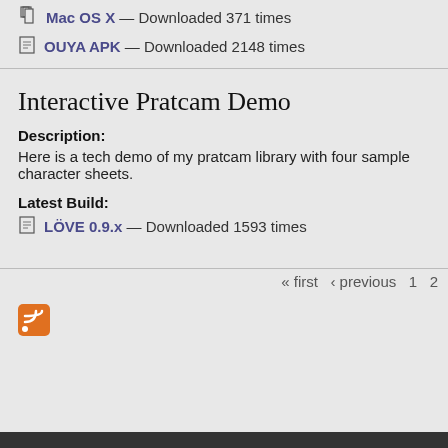Mac OS X — Downloaded 371 times
OUYA APK — Downloaded 2148 times
Interactive Pratcam Demo
Description:
Here is a tech demo of my pratcam library with four sample character sheets.
Latest Build:
LÖVE 0.9.x — Downloaded 1593 times
« first ‹ previous 1 2
[Figure (other): RSS feed icon (orange square with white radio waves)]